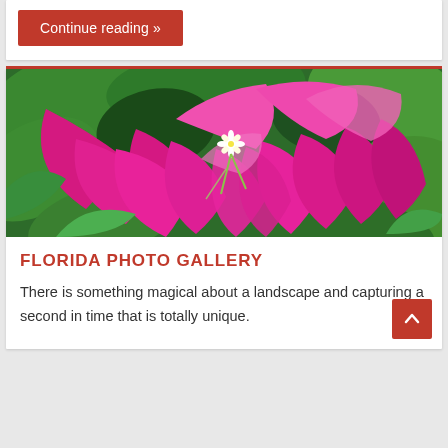Continue reading »
[Figure (photo): Close-up photo of bright magenta/pink bougainvillea flowers with green leaves, one small white flower visible in the center]
FLORIDA PHOTO GALLERY
There is something magical about a landscape and capturing a second in time that is totally unique.